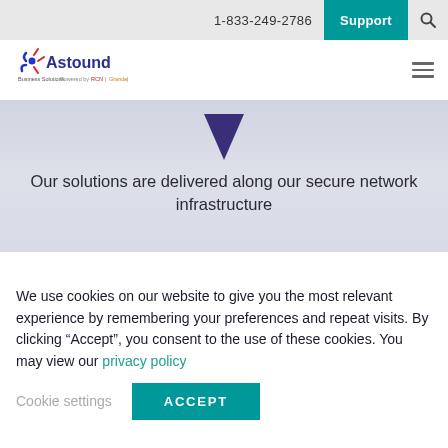1-833-249-2786  Support
[Figure (logo): Astound Business Solutions logo with colored star/sparkle icon and subtitle 'Business Solutions Powered by RCN | Grande | WideOpenWest']
[Figure (illustration): Dark purple downward-pointing arrow/chevron shape on a light gray-blue gradient background banner]
Our solutions are delivered along our secure network infrastructure
We use cookies on our website to give you the most relevant experience by remembering your preferences and repeat visits. By clicking “Accept”, you consent to the use of these cookies. You may view our privacy policy
Cookie settings  ACCEPT